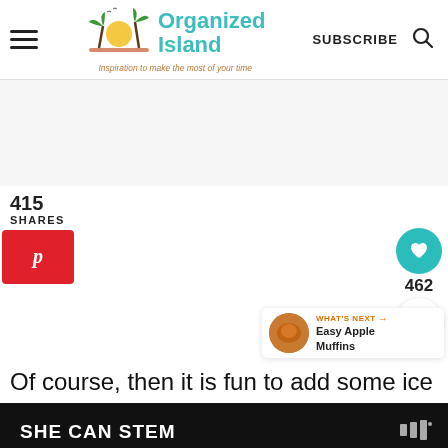Organized Island — Inspiration to make the most of your time | SUBSCRIBE
415
SHARES
[Figure (infographic): Pinterest share button (red background, white P icon)]
[Figure (infographic): Heart/like button (teal circle) with count 462, and share icon below]
[Figure (infographic): What's Next widget: thumbnail of muffin, label 'WHAT'S NEXT →', title 'Easy Apple Muffins']
Of course, then it is fun to add some ice
[Figure (screenshot): Advertisement banner with text 'SHE CAN STEM' on dark background]